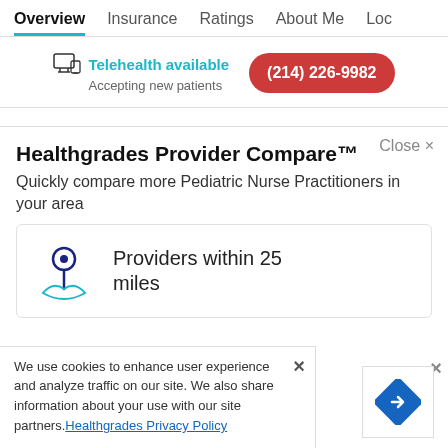Overview  Insurance  Ratings  About Me  Loc
Telehealth available
Accepting new patients
(214) 226-9982
Close ×
Healthgrades Provider Compare™
Quickly compare more Pediatric Nurse Practitioners in your area
Providers within 25 miles
We use cookies to enhance user experience and analyze traffic on our site. We also share information about your use with our site partners.Healthgrades Privacy Policy